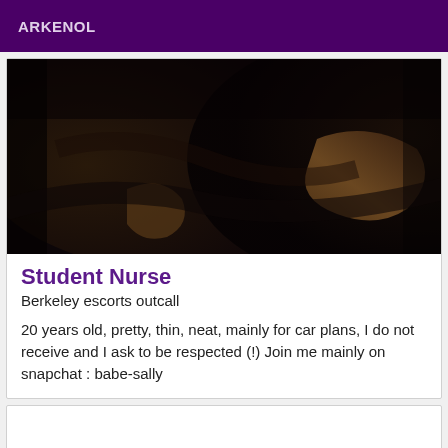ARKENOL
[Figure (photo): Dark, dimly lit photo showing fabric or upholstery surfaces, mostly dark brown/black tones]
Student Nurse
Berkeley escorts outcall
20 years old, pretty, thin, neat, mainly for car plans, I do not receive and I ask to be respected (!) Join me mainly on snapchat : babe-sally